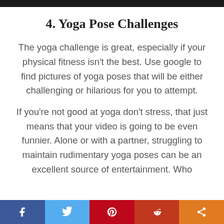4. Yoga Pose Challenges
The yoga challenge is great, especially if your physical fitness isn't the best. Use google to find pictures of yoga poses that will be either challenging or hilarious for you to attempt.
If you're not good at yoga don't stress, that just means that your video is going to be even funnier. Alone or with a partner, struggling to maintain rudimentary yoga poses can be an excellent source of entertainment. Who
Facebook | Twitter | Pinterest | Reddit | Share